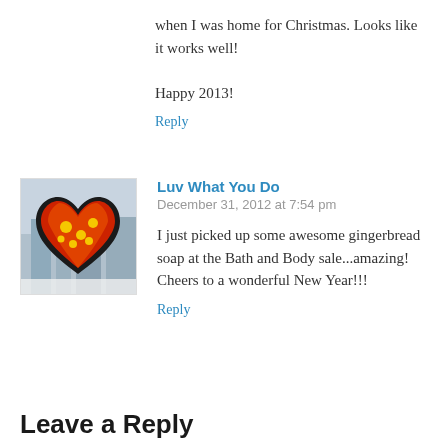when I was home for Christmas. Looks like it works well!

Happy 2013!
Reply
[Figure (photo): Avatar image showing a colorful heart artwork with red and orange colors and yellow spots on a black outline, displayed in front of a blurred background]
Luv What You Do
December 31, 2012 at 7:54 pm
I just picked up some awesome gingerbread soap at the Bath and Body sale...amazing! Cheers to a wonderful New Year!!!
Reply
Leave a Reply